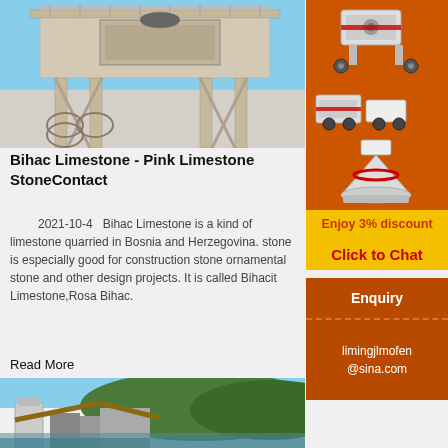[Figure (photo): Industrial stone crushing/screening machine on elevated steel structure against blue sky]
Bihac Limestone - Pink Limestone StoneContact
2021-10-4   Bihac Limestone is a kind of limestone quarried in Bosnia and Herzegovina. stone is especially good for construction stone ornamental stone and other design projects. It is called Bihacit Limestone,Rosa Bihac.
Read More
[Figure (photo): Limestone quarry with conveyor belts and industrial buildings against green hills]
[Figure (photo): Orange sidebar advertisement showing crushing machinery equipment]
Enjoy 3% discount
Click to Chat
Enquiry
limingjlmofen @sina.com